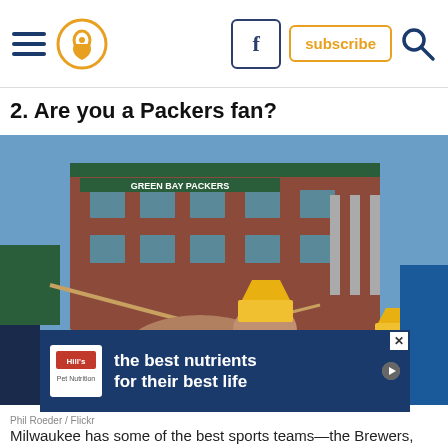Navigation bar with hamburger menu, location pin icon, Facebook button, subscribe button, search icon
2. Are you a Packers fan?
[Figure (photo): Two bulldogs wearing Green Bay Packers jerseys (number 12) and cheese wedge hats on a leash outside Lambeau Field stadium on a sunny day. People in Packers gear are visible in the background.]
[Figure (other): Hill's Pets advertisement overlay: logo on left, bold white text reading 'the best nutrients for their best life' on dark blue background]
Phil Roeder / Flickr
Milwaukee has some of the best sports teams—the Brewers, Bucks, Wisconsin Badgers... We have some of